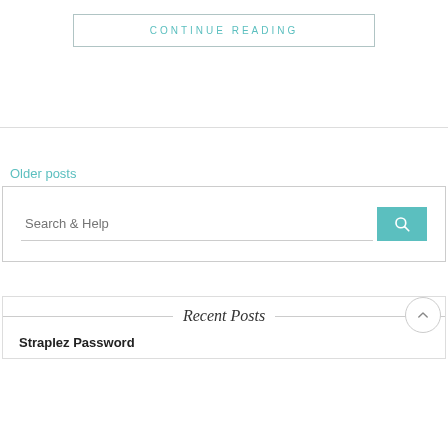CONTINUE READING
Older posts
Search & Help
Recent Posts
Straplez Password